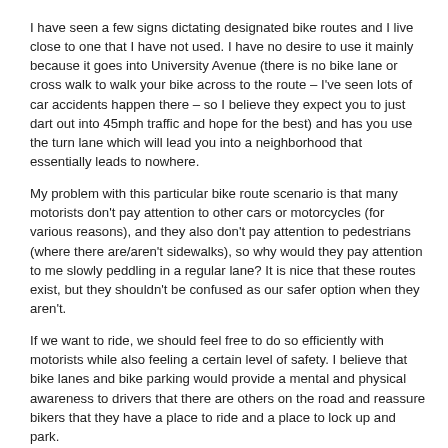I have seen a few signs dictating designated bike routes and I live close to one that I have not used. I have no desire to use it mainly because it goes into University Avenue (there is no bike lane or cross walk to walk your bike across to the route – I've seen lots of car accidents happen there – so I believe they expect you to just dart out into 45mph traffic and hope for the best) and has you use the turn lane which will lead you into a neighborhood that essentially leads to nowhere.
My problem with this particular bike route scenario is that many motorists don't pay attention to other cars or motorcycles (for various reasons), and they also don't pay attention to pedestrians (where there are/aren't sidewalks), so why would they pay attention to me slowly peddling in a regular lane? It is nice that these routes exist, but they shouldn't be confused as our safer option when they aren't.
If we want to ride, we should feel free to do so efficiently with motorists while also feeling a certain level of safety. I believe that bike lanes and bike parking would provide a mental and physical awareness to drivers that there are others on the road and reassure bikers that they have a place to ride and a place to lock up and park.
If Peoria had a physical place for me on some of its primary roads, I would most certainly bike more. What would it take for you to bike Peoria?